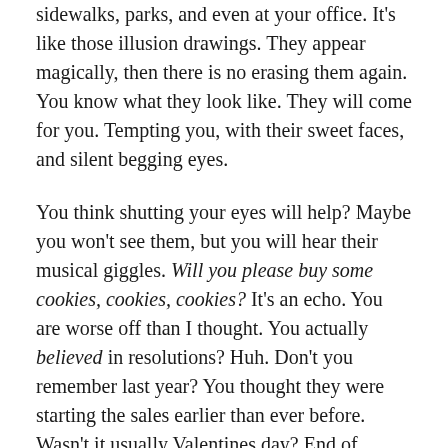sidewalks, parks, and even at your office. It's like those illusion drawings. They appear magically, then there is no erasing them again. You know what they look like. They will come for you. Tempting you, with their sweet faces, and silent begging eyes.
You think shutting your eyes will help? Maybe you won't see them, but you will hear their musical giggles. Will you please buy some cookies, cookies, cookies? It's an echo. You are worse off than I thought. You actually believed in resolutions? Huh. Don't you remember last year? You thought they were starting the sales earlier than ever before. Wasn't it usually Valentines day? End of January instead – REALLY? And now look at the date. Mid-January! Your suspicions were correct.